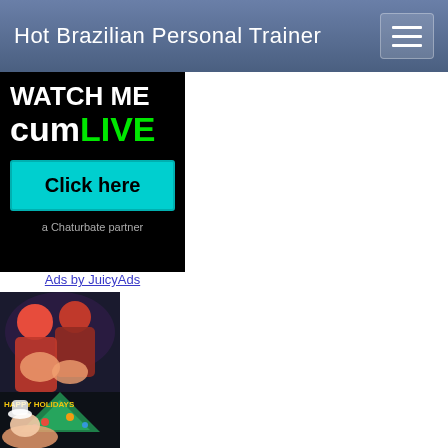Hot Brazilian Personal Trainer
[Figure (illustration): Advertisement banner with black background. Text reads 'Watch me cum LIVE' with LIVE in green. Contains a cyan 'Click here' button and 'a Chaturbate partner' text below.]
Ads by JuicyAds
[Figure (illustration): Anime/illustration style artwork showing cartoon characters, with 'HAPPY HOLIDAYS' text visible. Dark background with colorful holiday imagery.]